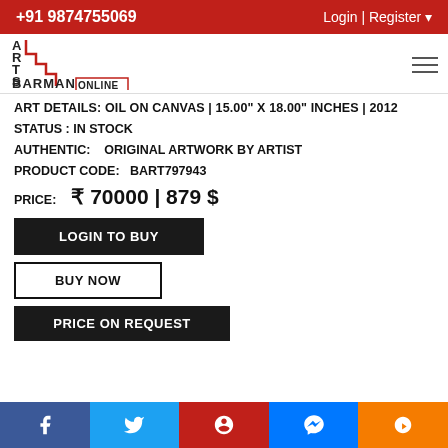+91 9874755069   Login | Register
[Figure (logo): Arts Barman Online logo with staircase design in red and black]
ART DETAILS: OIL ON CANVAS | 15.00" X 18.00" INCHES | 2012
STATUS : IN STOCK
AUTHENTIC:    ORIGINAL ARTWORK BY ARTIST
PRODUCT CODE:    BART797943
PRICE:   ₹ 70000 | 879 $
LOGIN TO BUY
BUY NOW
PRICE ON REQUEST
f  Twitter  Pinterest  Messenger  Blogger